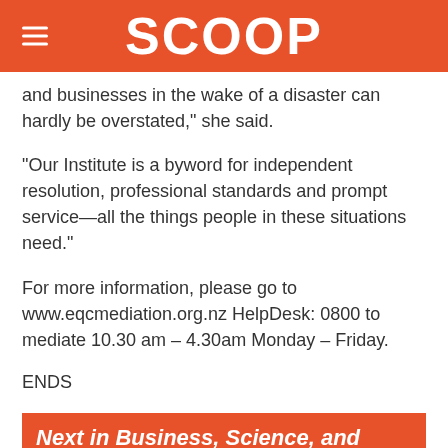SCOOP
and businesses in the wake of a disaster can hardly be overstated," she said.
“Our Institute is a byword for independent resolution, professional standards and prompt service—all the things people in these situations need.”
For more information, please go to www.eqcmediation.org.nz HelpDesk: 0800 to mediate 10.30 am – 4.30am Monday – Friday.
ENDS
Next in Business, Science, and Tech
Changes To Working Holiday And Visa Rules Will Boost Hospitality